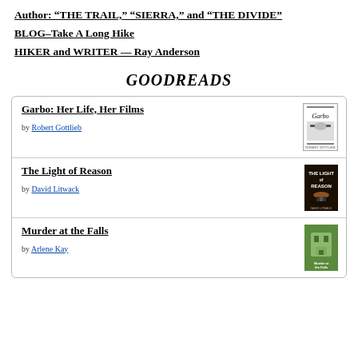Author: “THE TRAIL,” “SIERRA,” and “THE DIVIDE”
BLOG–Take A Long Hike
HIKER and WRITER — Ray Anderson
GOODREADS
Garbo: Her Life, Her Films by Robert Gottlieb
The Light of Reason by David Litwack
Murder at the Falls by Arlene Kay